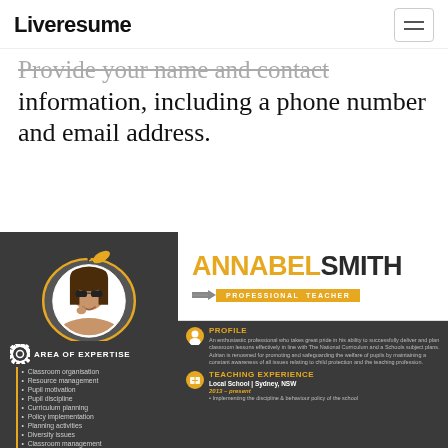Liveresume
Provide your name and contact information, including a phone number and email address.
[Figure (infographic): Teacher resume template preview showing Annabel Smith as a Professional Teacher. Left dark panel with apple-shaped photo frame, area of expertise list including classroom organisation, resource management, pupil motivation, pupil discipline, curriculum planning, policy implementation, planning activities, diversity issues, classroom management. Right side shows name ANNABEL SMITH, title PROFESSIONAL TEACHER, profile section and teaching experience section with Local School Sydney NSW, 2013-present.]